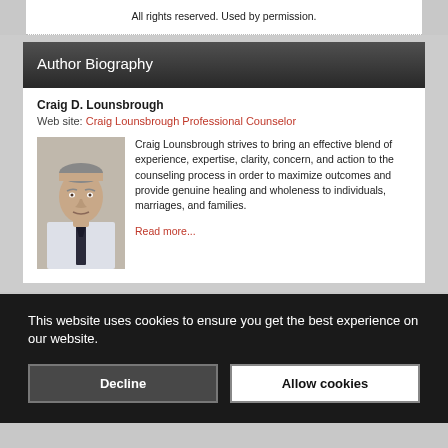All rights reserved. Used by permission.
Author Biography
Craig D. Lounsbrough
Web site: Craig Lounsbrough Professional Counselor
[Figure (photo): Headshot photo of Craig D. Lounsbrough]
Craig Lounsbrough strives to bring an effective blend of experience, expertise, clarity, concern, and action to the counseling process in order to maximize outcomes and provide genuine healing and wholeness to individuals, marriages, and families.
Read more...
This website uses cookies to ensure you get the best experience on our website.